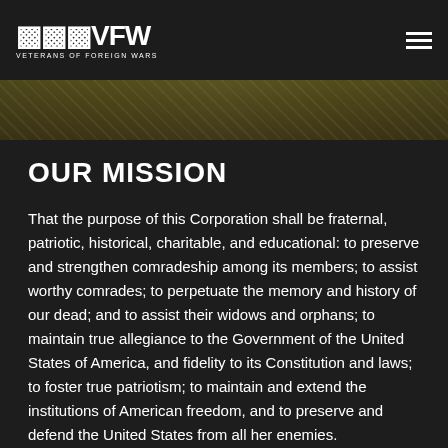VFW — Veterans of Foreign Wars
OUR MISSION
That the purpose of this Corporation shall be fraternal, patriotic, historical, charitable, and educational: to preserve and strengthen comradeship among its members; to assist worthy comrades; to perpetuate the memory and history of our dead; and to assist their widows and orphans; to maintain true allegiance to the Government of the United States of America, and fidelity to its Constitution and laws; to foster true patriotism; to maintain and extend the institutions of American freedom, and to preserve and defend the United States from all her enemies.